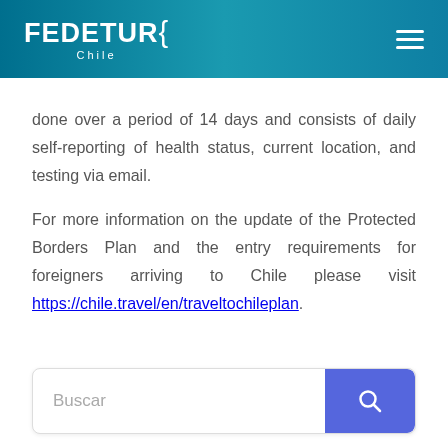FEDETUR Chile
done over a period of 14 days and consists of daily self-reporting of health status, current location, and testing via email.
For more information on the update of the Protected Borders Plan and the entry requirements for foreigners arriving to Chile please visit https://chile.travel/en/traveltochileplan.